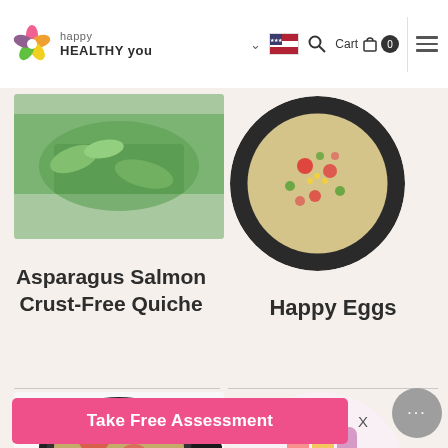happy HEALTHY you — navigation bar with logo, cart, search, flag, and hamburger menu
[Figure (photo): Partial photo of a green salad dish on the top-left]
[Figure (photo): Circular photo of a colorful couscous/grain salad in a black bowl on the top-right]
Asparagus Salmon Crust-Free Quiche
Happy Eggs
[Figure (photo): Photo of asparagus salmon quiche in a cast iron skillet, partially visible at bottom-left]
[Figure (photo): Circular photo of colorful popsicles with berries at bottom-right, partially visible]
Take Free Assessment
X